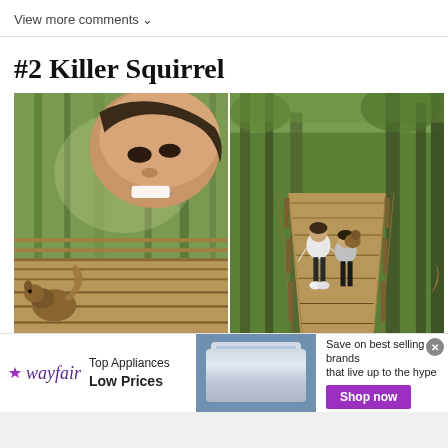View more comments ∨
#2 Killer Squirrel
[Figure (photo): Two side-by-side photos on a forest boardwalk. Left photo shows a person's face close-up looking down at a squirrel on the wooden boardwalk surrounded by trees. Right photo shows two people walking away on the same type of boardwalk through a lush green forest.]
[Figure (infographic): Wayfair advertisement banner: Wayfair logo on left with star icon, 'Top Appliances Low Prices' text, image of a stove/range appliance in center, and 'Save on best selling brands that live up to the hype' with purple 'Shop now' button on right. Close button (x) in top right corner.]